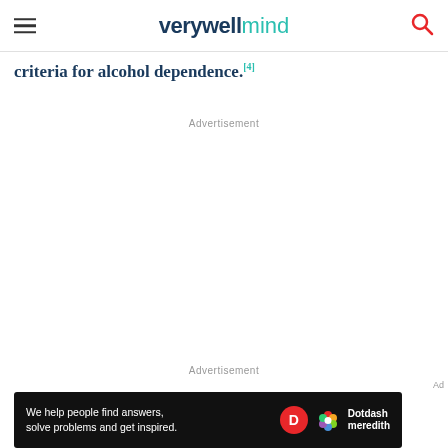verywell mind
criteria for alcohol dependence.[4]
Advertisement
Advertisement
Ad
[Figure (other): Dotdash Meredith advertisement banner: 'We help people find answers, solve problems and get inspired.' with Dotdash Meredith logo on black background]